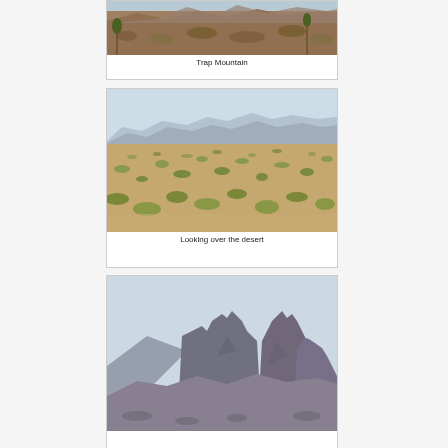[Figure (photo): Desert landscape with scrubby terrain and rocky mountain - Trap Mountain]
Trap Mountain
[Figure (photo): Wide desert landscape with low scrub brush and distant mountain ridges]
Looking over the desert
[Figure (photo): Rocky mountain peaks with jagged spires against a pale sky]